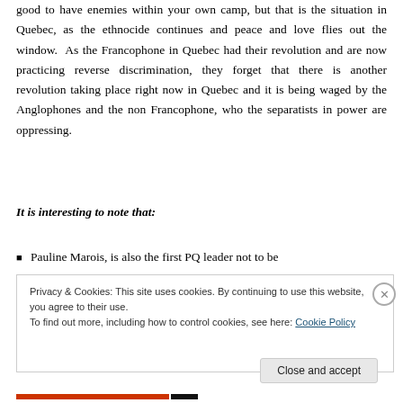good to have enemies within your own camp, but that is the situation in Quebec, as the ethnocide continues and peace and love flies out the window. As the Francophone in Quebec had their revolution and are now practicing reverse discrimination, they forget that there is another revolution taking place right now in Quebec and it is being waged by the Anglophones and the non Francophone, who the separatists in power are oppressing.
It is interesting to note that:
Pauline Marois, is also the first PQ leader not to be
Privacy & Cookies: This site uses cookies. By continuing to use this website, you agree to their use.
To find out more, including how to control cookies, see here: Cookie Policy